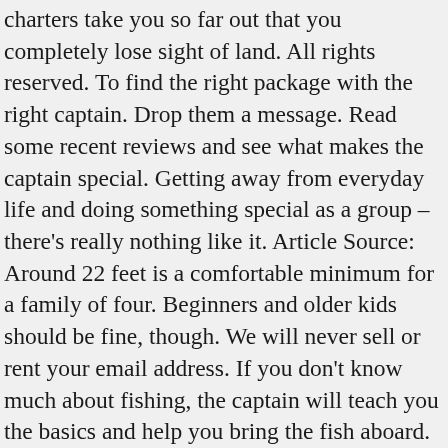charters take you so far out that you completely lose sight of land. All rights reserved. To find the right package with the right captain. Drop them a message. Read some recent reviews and see what makes the captain special. Getting away from everyday life and doing something special as a group – there's really nothing like it. Article Source: Around 22 feet is a comfortable minimum for a family of four. Beginners and older kids should be fine, though. We will never sell or rent your email address. If you don't know much about fishing, the captain will teach you the basics and help you bring the fish aboard. Short trips offer plenty of fun, so this is a great option for first-timers or young kids. Is it that one trophy fish? There are a lot of Fishing Charter Juneau AK [http://fishingcharterjuneauak.com] but only Big Jim's Charters can provide you with the quality service you are looking for. Roads connect the Last Frontier state to the